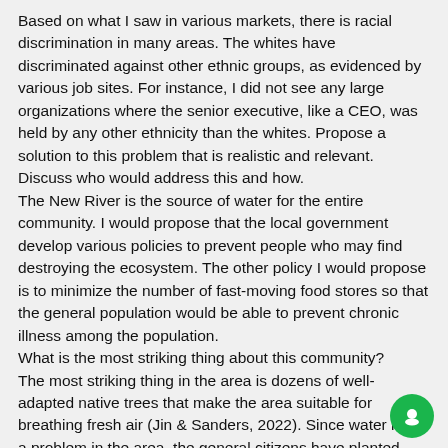Based on what I saw in various markets, there is racial discrimination in many areas. The whites have discriminated against other ethnic groups, as evidenced by various job sites. For instance, I did not see any large organizations where the senior executive, like a CEO, was held by any other ethnicity than the whites. Propose a solution to this problem that is realistic and relevant. Discuss who would address this and how.
The New River is the source of water for the entire community. I would propose that the local government develop various policies to prevent people who may find destroying the ecosystem. The other policy I would propose is to minimize the number of fast-moving food stores so that the general population would be able to prevent chronic illness among the population.
What is the most striking thing about this community?
The most striking thing in the area is dozens of well-adapted native trees that make the area suitable for breathing fresh air (Jin & Sanders, 2022). Since water is not a problem in the area, the general citizens have planted numerous trees in their homesteads.
What was most unexpected?
One surprising thing I did not expect was horses in the area, but realized that there are horses as a result of some old lines and